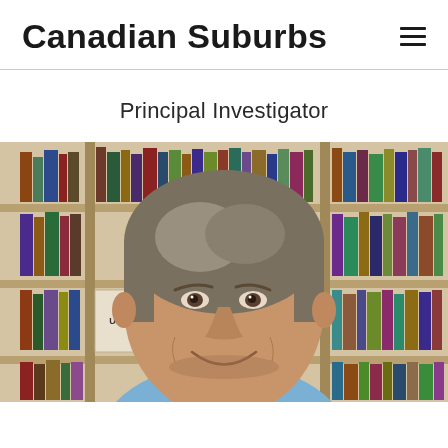Canadian Suburbs
Principal Investigator
[Figure (photo): A middle-aged man with grey-brown hair smiling at the camera, standing in front of a bookshelf containing books including one labeled 'URBAN DESIGN'. The setting appears to be an academic office or library.]